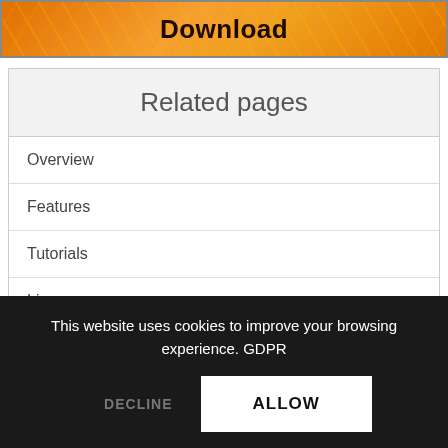[Figure (other): Orange download button banner with geometric pattern background and bold 'Download' text]
| Related pages |
| --- |
| Overview |
| Features |
| Tutorials |
| Licenses |
| Performance Benchmarks |
This website uses cookies to improve your browsing experience. GDPR
DECLINE
ALLOW